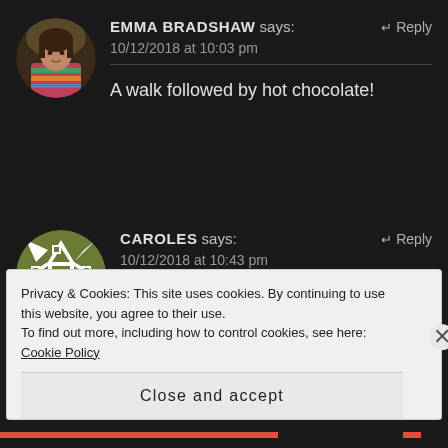[Figure (photo): Circular avatar photo of Emma Bradshaw, a woman with brown hair wearing a colorful striped sweater]
EMMA BRADSHAW says:
↵ Reply
10/12/2018 at 10:03 pm
A walk followed by hot chocolate!
[Figure (illustration): Circular avatar with a geometric quilted pattern in olive green and white]
CAROLES says:
↵ Reply
10/12/2018 at 10:43 pm
Reading a good book while snuggling in front of the fire
Privacy & Cookies: This site uses cookies. By continuing to use this website, you agree to their use.
To find out more, including how to control cookies, see here: Cookie Policy
Close and accept